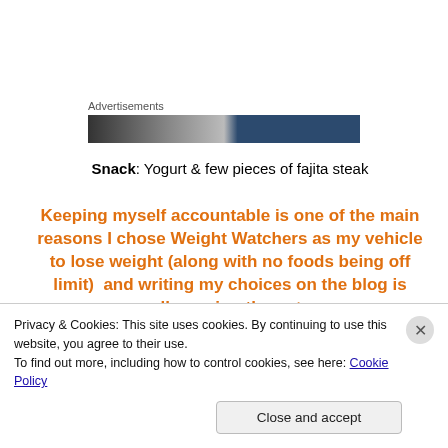Advertisements
[Figure (photo): Advertisement banner image with dark gradient (dark left half, navy right half)]
Snack: Yogurt & few pieces of fajita steak
Keeping myself accountable is one of the main reasons I chose Weight Watchers as my vehicle to lose weight (along with no foods being off limit)  and writing my choices on the blog is really upping the ante...  This has me thinking if there were other
Privacy & Cookies: This site uses cookies. By continuing to use this website, you agree to their use.
To find out more, including how to control cookies, see here: Cookie Policy
Close and accept